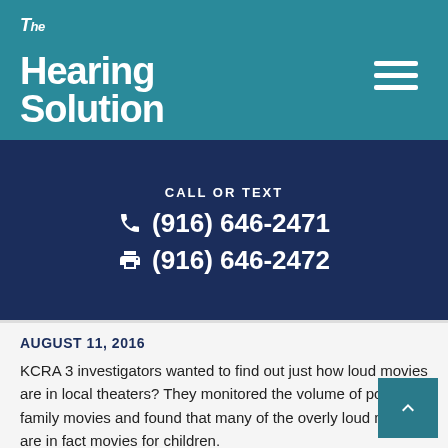The Hearing Solution
CALL OR TEXT
☎ (916) 646-2471
🖨 (916) 646-2472
AUGUST 11, 2016
KCRA 3 investigators wanted to find out just how loud movies are in local theaters? They monitored the volume of popular family movies and found that many of the overly loud movies are in fact movies for children.
LEARN MORE